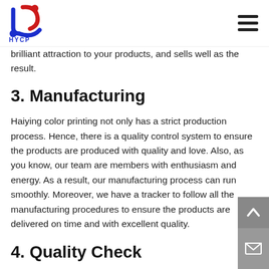HYCP logo and navigation
brilliant attraction to your products, and sells well as the result.
3. Manufacturing
Haiying color printing not only has a strict production process. Hence, there is a quality control system to ensure the products are produced with quality and love. Also, as you know, our team are members with enthusiasm and energy. As a result, our manufacturing process can run smoothly. Moreover, we have a tracker to follow all the manufacturing procedures to ensure the products are delivered on time and with excellent quality.
4. Quality Check